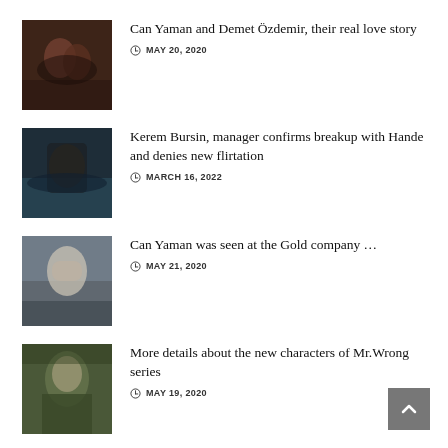[Figure (photo): Close-up of two people (man and woman) nearly kissing, dark romantic scene]
Can Yaman and Demet Özdemir, their real love story
MAY 20, 2020
[Figure (photo): Man in dark jacket standing against water/sea background]
Kerem Bursin, manager confirms breakup with Hande and denies new flirtation
MARCH 16, 2022
[Figure (photo): Man with sunglasses and face mask on a street]
Can Yaman was seen at the Gold company …
MAY 21, 2020
[Figure (photo): Man with beard in green shirt]
More details about the new characters of Mr.Wrong series
MAY 19, 2020